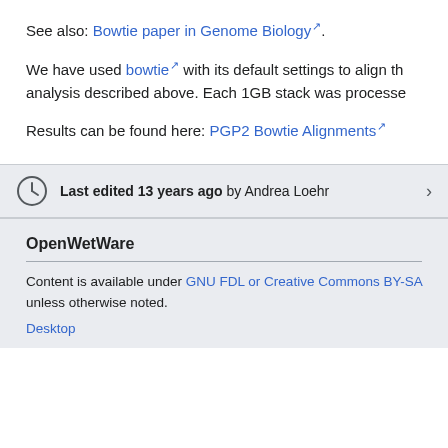See also: Bowtie paper in Genome Biology.
We have used bowtie with its default settings to align th analysis described above. Each 1GB stack was processe
Results can be found here: PGP2 Bowtie Alignments
Last edited 13 years ago by Andrea Loehr
OpenWetWare
Content is available under GNU FDL or Creative Commons BY-SA unless otherwise noted.
Desktop